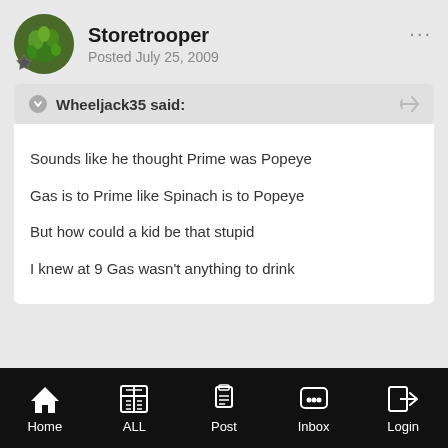Storetrooper — Posted July 25, 2009
Wheeljack35 said:
Sounds like he thought Prime was Popeye
Gas is to Prime like Spinach is to Popeye
But how could a kid be that stupid
I knew at 9 Gas wasn't anything to drink
Home  ALL  Post  Inbox  Login